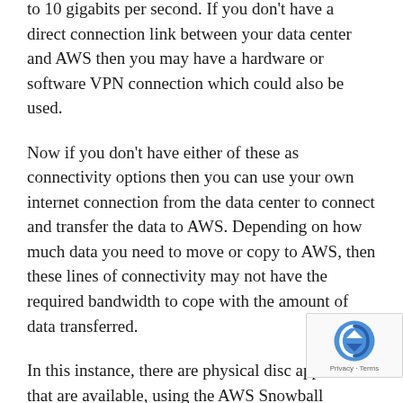to 10 gigabits per second. If you don't have a direct connection link between your data center and AWS then you may have a hardware or software VPN connection which could also be used.
Now if you don't have either of these as connectivity options then you can use your own internet connection from the data center to connect and transfer the data to AWS. Depending on how much data you need to move or copy to AWS, then these lines of connectivity may not have the required bandwidth to cope with the amount of data transferred.
In this instance, there are physical disc appliances that are available, using the AWS Snowball service, whereby AWS will send you an appliance, either 50 Terrabytes or 80 Terrabytes in size, to your data center, where you can then copy your data to it before it is shipped back to AWS for uploading onto